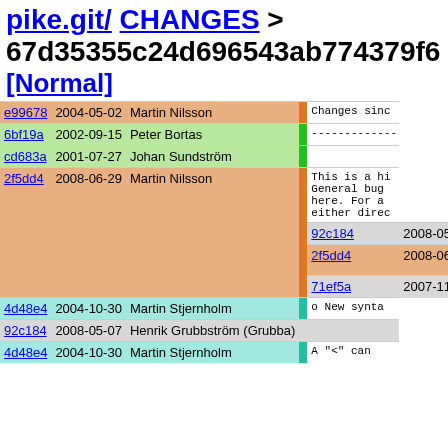pike.git/ CHANGES > 67d35355c24d696543ab774379f6 [Normal]
| hash | date | author | bar | message |
| --- | --- | --- | --- | --- |
| e99678 | 2004-05-02 | Martin Nilsson |  | Changes sinc |
| 6bf19a | 2002-09-15 | Peter Bortas |  | ------------- |
| cd683a | 2001-07-27 | Johan Sundström |  |  |
| 2f5dd4 | 2008-06-29 | Martin Nilsson |  | This is a hi
General bug
here. For a
either direc |
| 92c184 | 2008-05-07 | Henrik Grubbström (Grubba) |  |  |
| 2f5dd4 | 2008-06-29 | Martin Nilsson |  | New / improv
------------- |
| 71ef5a | 2007-11-02 | Henrik Grubbström (Grubba) |  |  |
| 4d48e4 | 2004-10-30 | Martin Stjernholm |  | o New synta |
| 92c184 | 2008-05-07 | Henrik Grubbström (Grubba) |  |  |
| 4d48e4 | 2004-10-30 | Martin Stjernholm |  | A "<" can |